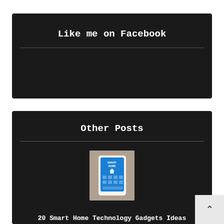Like me on Facebook
Other Posts
[Figure (photo): Hand holding a smartphone displaying a smart home app with icons and 'SMART HOME' text on the screen]
20 Smart Home Technology Gadgets Ideas